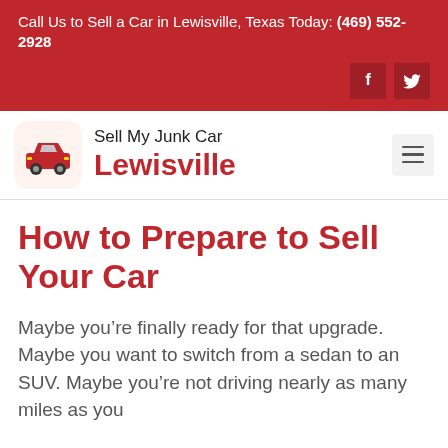Call Us to Sell a Car in Lewisville, Texas Today: (469) 552-2928
[Figure (logo): Sell My Junk Car Lewisville logo with red car icon]
How to Prepare to Sell Your Car
Maybe you're finally ready for that upgrade. Maybe you want to switch from a sedan to an SUV. Maybe you're not driving nearly as many miles as you